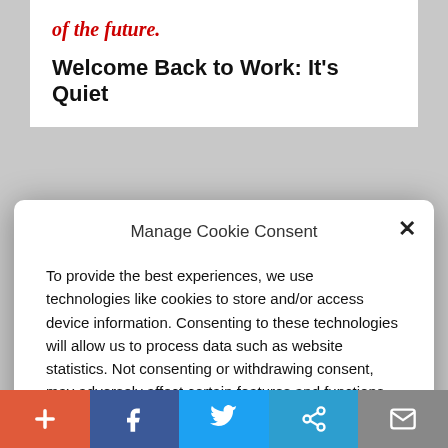of the future.
Welcome Back to Work: It's Quiet
[Figure (screenshot): Manage Cookie Consent modal dialog with Accept button, Cookie Policy and Privacy Policy links, and a close (×) button.]
Manage Cookie Consent
To provide the best experiences, we use technologies like cookies to store and/or access device information. Consenting to these technologies will allow us to process data such as website statistics. Not consenting or withdrawing consent, may adversely affect certain features and functions.
Accept
Cookie Policy  Privacy Policy